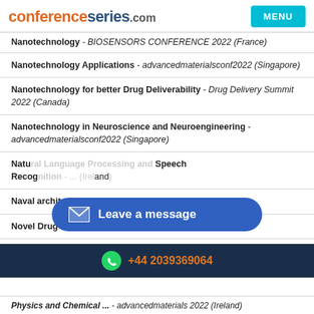conferenceseries.com | MENU
Nanotechnology - BIOSENSORS CONFERENCE 2022 (France)
Nanotechnology Applications - advancedmaterialsconf2022 (Singapore)
Nanotechnology for better Drug Deliverability - Drug Delivery Summit 2022 (Canada)
Nanotechnology in Neuroscience and Neuroengineering - advancedmaterialsconf2022 (Singapore)
Natural Language Processing and Speech Recognition - [partially obscured] (Ireland)
Naval architecture - Marine Engineering-2022 (Spain)
Novel Drug Delivery - Drug Delivery Summit 2022 (Canada)
[Figure (other): Leave a message overlay button]
+44 2039369064
Physics and Chemical ... - advancedmaterials 2022 (Ireland)